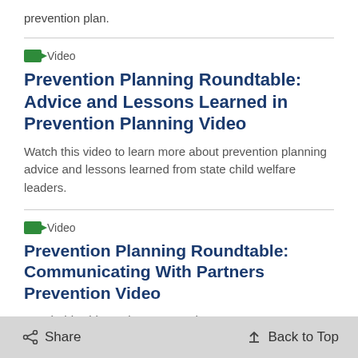prevention plan.
Video
Prevention Planning Roundtable: Advice and Lessons Learned in Prevention Planning Video
Watch this video to learn more about prevention planning advice and lessons learned from state child welfare leaders.
Video
Prevention Planning Roundtable: Communicating With Partners Prevention Video
Watch this video to learn more about state
Share   Back to Top